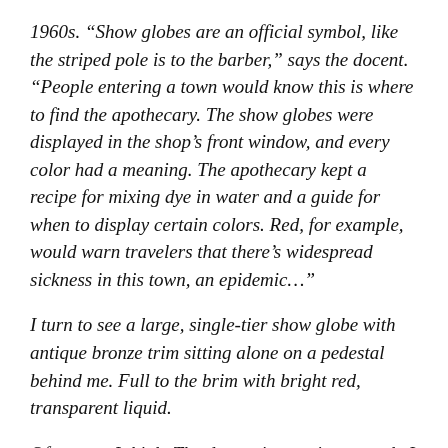1960s. "Show globes are an official symbol, like the striped pole is to the barber," says the docent. "People entering a town would know this is where to find the apothecary. The show globes were displayed in the shop's front window, and every color had a meaning. The apothecary kept a recipe for mixing dye in water and a guide for when to display certain colors. Red, for example, would warn travelers that there's widespread sickness in this town, an epidemic..."
I turn to see a large, single-tier show globe with antique bronze trim sitting alone on a pedestal behind me. Full to the brim with bright red, transparent liquid.
Of course, I think. The docent is wearing a mask. I wonder if the all the museum guides came by cover of night in March of 2020 to mix this red solution. And if it will remain red until COVID-19 and its full long...